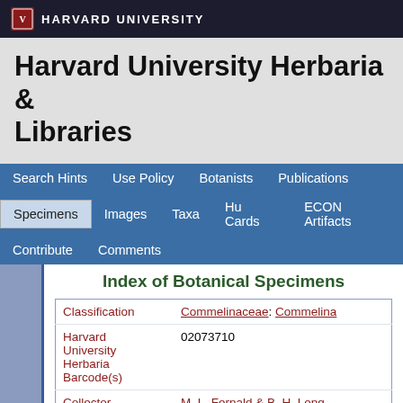HARVARD UNIVERSITY
Harvard University Herbaria & Libraries
Search Hints | Use Policy | Botanists | Publications | Specimens | Images | Taxa | Hu Cards | ECON Artifacts | Contribute | Comments
Index of Botanical Specimens
| Field | Value |
| --- | --- |
| Classification | Commelinaceae: Commelina |
| Harvard University Herbaria Barcode(s) | 02073710 |
| Collector | M. L. Fernald & B. H. Long |
| Collector number | 9291 |
| Country | United States of America |
| State | Virginia |